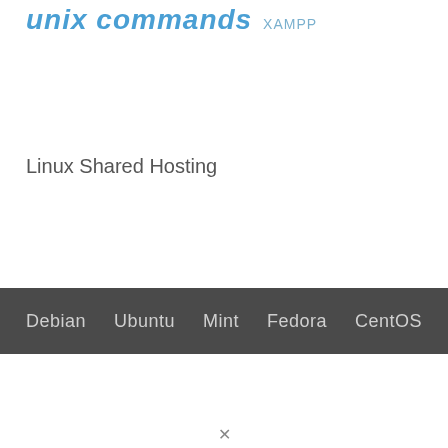unix commands XAMPP
Linux Shared Hosting
Debian   Ubuntu   Mint   Fedora   CentOS